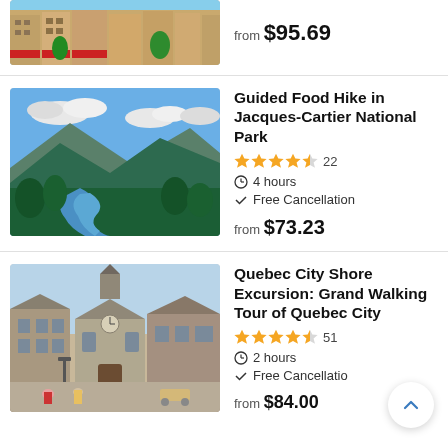[Figure (photo): Aerial or street view of old town buildings with colorful red awnings]
from $95.69
[Figure (photo): Aerial view of Jacques-Cartier National Park with river winding through green forested mountains]
Guided Food Hike in Jacques-Cartier National Park
4.5 stars, 22 reviews
4 hours
Free Cancellation
from $73.23
[Figure (photo): Historic stone buildings in Quebec City old town square with a church steeple]
Quebec City Shore Excursion: Grand Walking Tour of Quebec City
4.5 stars, 51 reviews
2 hours
Free Cancellation
from $84.00